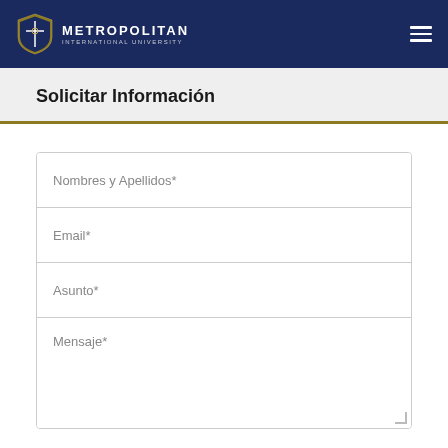[Figure (logo): Metropolitan International University logo with shield emblem and text, white on dark navy background, with hamburger menu icon on right]
Solicitar Información
Nombres y Apellidos*
Email*
Asunto*
Mensaje*